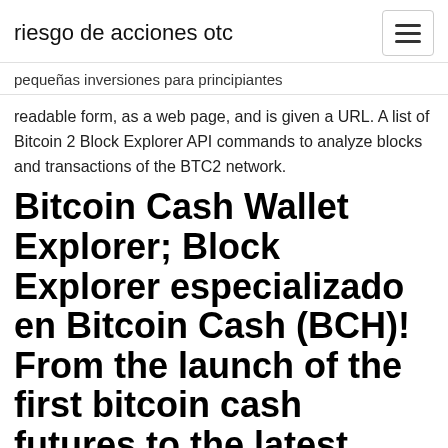riesgo de acciones otc
pequeñas inversiones para principiantes
readable form, as a web page, and is given a URL. A list of Bitcoin 2 Block Explorer API commands to analyze blocks and transactions of the BTC2 network.
Bitcoin Cash Wallet Explorer; Block Explorer especializado en Bitcoin Cash (BCH)! From the launch of the first bitcoin cash futures to the latest .
12/17/2019 · Open source Bitcoin Gold Chain Explorer. Contribute to vattay/iquidus-btg development by creating an